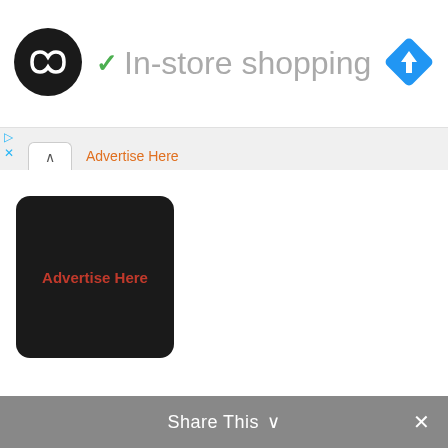[Figure (logo): Black circular logo with white double infinity/loop symbol]
In-store shopping
[Figure (logo): Blue diamond navigation/direction icon with white arrow]
Advertise Here
[Figure (other): Black rounded rectangle advertisement placeholder with 'Advertise Here' text in dark orange]
Share This ∨  ×